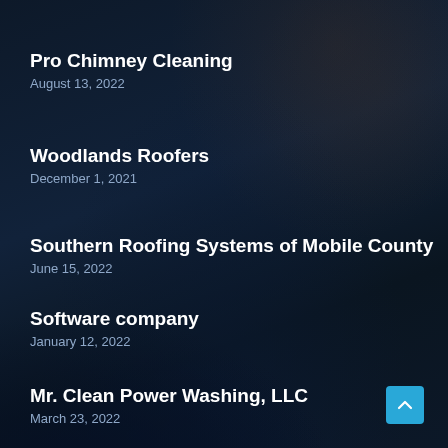Pro Chimney Cleaning
August 13, 2022
Woodlands Roofers
December 1, 2021
Southern Roofing Systems of Mobile County
June 15, 2022
Software company
January 12, 2022
Mr. Clean Power Washing, LLC
March 23, 2022